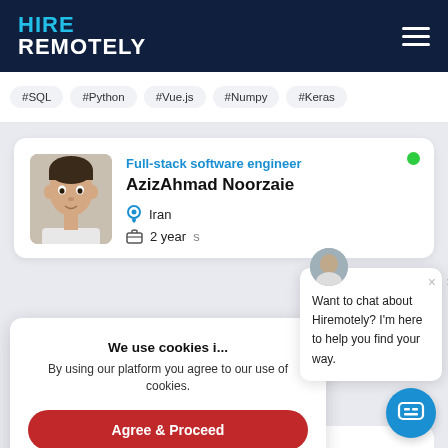[Figure (logo): HIRE REMOTELY logo in white and cyan on dark navy background with hamburger menu icon]
#SQL #Python #Vue.js #Numpy #Keras
[Figure (screenshot): Profile card for AzizAhmad Noorzaie, Full-stack software engineer, Iran, 2 years experience, with green online dot]
Want to chat about Hiremotely? I'm here to help you find your way.
We use cookies i...
By using our platform you agree to our use of cookies.
Agree & Proceed
Consultant